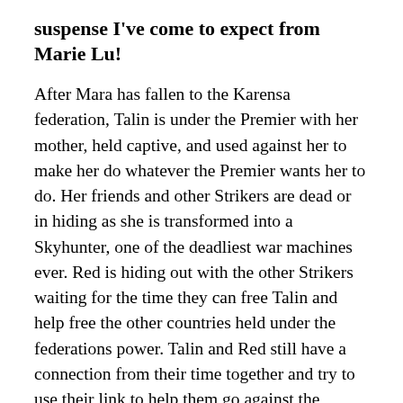suspense I've come to expect from Marie Lu!
After Mara has fallen to the Karensa federation, Talin is under the Premier with her mother, held captive, and used against her to make her do whatever the Premier wants her to do. Her friends and other Strikers are dead or in hiding as she is transformed into a Skyhunter, one of the deadliest war machines ever. Red is hiding out with the other Strikers waiting for the time they can free Talin and help free the other countries held under the federations power. Talin and Red still have a connection from their time together and try to use their link to help them go against the Premier. With challenges at every turn, they are going to have to fight harder than they ever imagined to come out on top and set those they love free.
By the time I finished this book I found myself